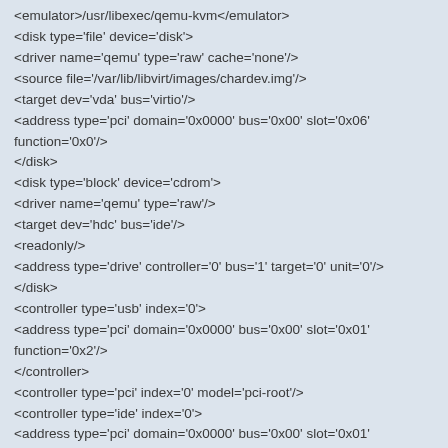<emulator>/usr/libexec/qemu-kvm</emulator>
<disk type='file' device='disk'>
<driver name='qemu' type='raw' cache='none'/>
<source file='/var/lib/libvirt/images/chardev.img'/>
<target dev='vda' bus='virtio'/>
<address type='pci' domain='0x0000' bus='0x00' slot='0x06' function='0x0'/>
</disk>
<disk type='block' device='cdrom'>
<driver name='qemu' type='raw'/>
<target dev='hdc' bus='ide'/>
<readonly/>
<address type='drive' controller='0' bus='1' target='0' unit='0'/>
</disk>
<controller type='usb' index='0'>
<address type='pci' domain='0x0000' bus='0x00' slot='0x01' function='0x2'/>
</controller>
<controller type='pci' index='0' model='pci-root'/>
<controller type='ide' index='0'>
<address type='pci' domain='0x0000' bus='0x00' slot='0x01' function='0x1'/>
</controller>
<controller type='virtio-serial' index='0'>
<address type='pci' domain='0x0000' bus='0x00' slot='0x05'